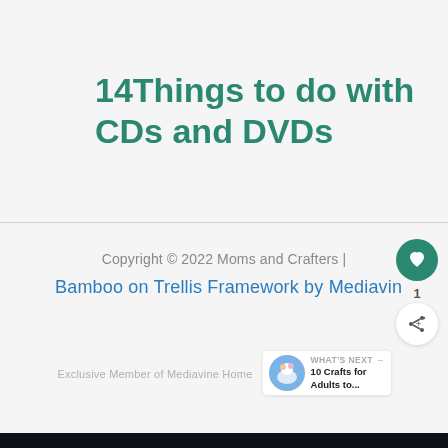14Things to do with CDs and DVDs
Copyright © 2022 Moms and Crafters | Bamboo on Trellis Framework by Mediavin
Exclusive Member of Mediavine Home
WHAT'S NEXT → 10 Crafts for Adults to...
SHE CAN STEM